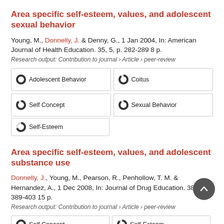Area specific self-esteem, values, and adolescent sexual behavior
Young, M., Donnelly, J. & Denny, G., 1 Jan 2004, In: American Journal of Health Education. 35, 5, p. 282-289 8 p.
Research output: Contribution to journal › Article › peer-review
100% Adolescent Behavior
90% Coitus
90% Self Concept
90% Sexual Behavior
70% Self-Esteem
Area specific self-esteem, values, and adolescent substance use
Donnelly, J., Young, M., Pearson, R., Penhollow, T. M. & Hernandez, A., 1 Dec 2008, In: Journal of Drug Education. 38, 4, p. 389-403 15 p.
Research output: Contribution to journal › Article › peer-review
100% Self Concept
90% Self-Esteem